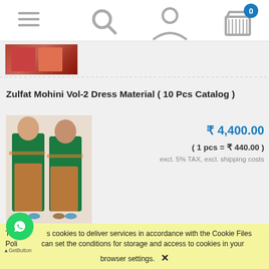[Figure (screenshot): Mobile e-commerce navigation bar with hamburger menu, search icon, user profile icon, and cart icon with badge showing 0]
[Figure (photo): Small thumbnail image of red/orange dress at top left]
Zulfat Mohini Vol-2 Dress Material ( 10 Pcs Catalog )
[Figure (photo): Two women wearing green salwar kameez with orange floral dupatta and palazzo pants]
₹ 4,400.00
( 1 pcs = ₹ 440.00 )
excl. 5% TAX, excl. shipping costs
This site uses cookies to deliver services in accordance with the Cookie Files Policy. You can set the conditions for storage and access to cookies in your browser settings. ✕